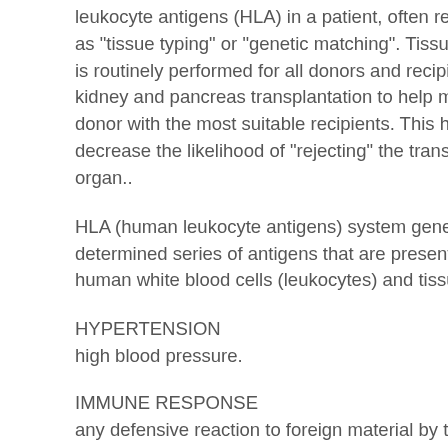leukocyte antigens (HLA) in a patient, often referred to as "tissue typing" or "genetic matching". Tissue typing is routinely performed for all donors and recipients in kidney and pancreas transplantation to help match the donor with the most suitable recipients. This helps to decrease the likelihood of "rejecting" the transplanted organ..
HLA (human leukocyte antigens) system genetically determined series of antigens that are present on human white blood cells (leukocytes) and tissues.
HYPERTENSION
high blood pressure.
IMMUNE RESPONSE
any defensive reaction to foreign material by the